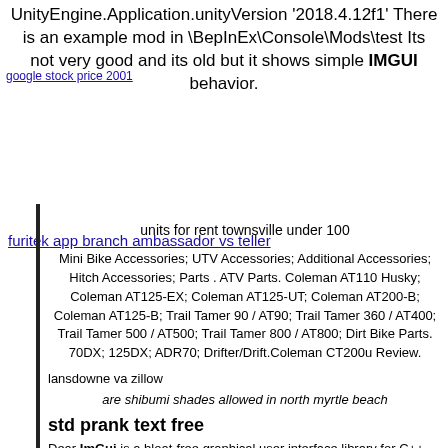UnityEngine.Application.unityVersion '2018.4.12f1' There is an example mod in \BepInEx\Console\Mods\test Its not very good and its old but it shows simple IMGUI behavior.
google stock price 2001
furitek app branch ambassador vs teller
units for rent townsville under 100
Mini Bike Accessories; UTV Accessories; Additional Accessories; Hitch Accessories; Parts . ATV Parts. Coleman AT110 Husky; Coleman AT125-EX; Coleman AT125-UT; Coleman AT200-B; Coleman AT125-B; Trail Tamer 90 / AT90; Trail Tamer 360 / AT400; Trail Tamer 500 / AT500; Trail Tamer 800 / AT800; Dirt Bike Parts. 70DX; 125DX; ADR70; Drifter/Drift.Coleman CT200u Review.
lansdowne va zillow
are shibumi shades allowed in north myrtle beach
std prank text free
Dear ImGui is a bloat-free graphical user interface library for C++. ... diff, stash, blame, and log. Unfortunately, popular git GUIs all fail on giant repositories or become unresponsive and unusable. ... console application developed either for WinAPI (cmd, powershell, far) or Unix RTY (cygwin, msys, wsl bash). As Windows console window